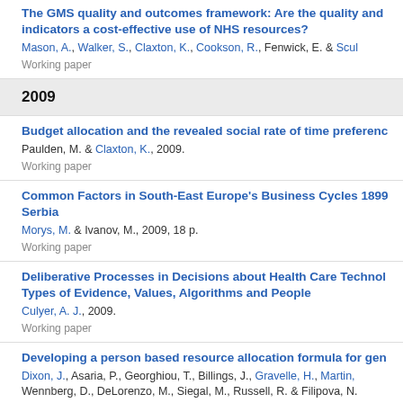The GMS quality and outcomes framework: Are the quality and indicators a cost-effective use of NHS resources?
Mason, A., Walker, S., Claxton, K., Cookson, R., Fenwick, E. & Scul
Working paper
2009
Budget allocation and the revealed social rate of time preference
Paulden, M. & Claxton, K., 2009.
Working paper
Common Factors in South-East Europe's Business Cycles 1899 Serbia
Morys, M. & Ivanov, M., 2009, 18 p.
Working paper
Deliberative Processes in Decisions about Health Care Techno Types of Evidence, Values, Algorithms and People
Culyer, A. J., 2009.
Working paper
Developing a person based resource allocation formula for gen
Dixon, J., Asaria, P., Georghiou, T., Billings, J., Gravelle, H., Martin, Wennberg, D., DeLorenzo, M., Siegal, M., Russell, R. & Filipova, N.
Working paper